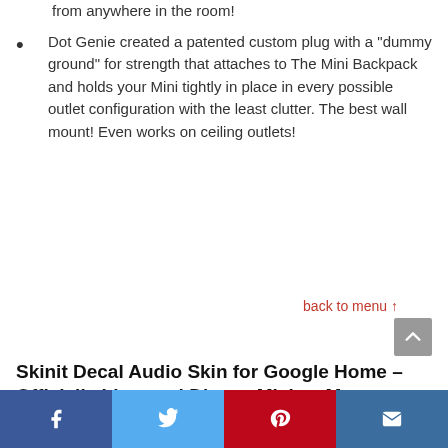from anywhere in the room!
Dot Genie created a patented custom plug with a "dummy ground" for strength that attaches to The Mini Backpack and holds your Mini tightly in place in every possible outlet configuration with the least clutter. The best wall mount! Even works on ceiling outlets!
back to menu ↑
Skinit Decal Audio Skin for Google Home – Officially Licensed Disney Mickey Mouse Design